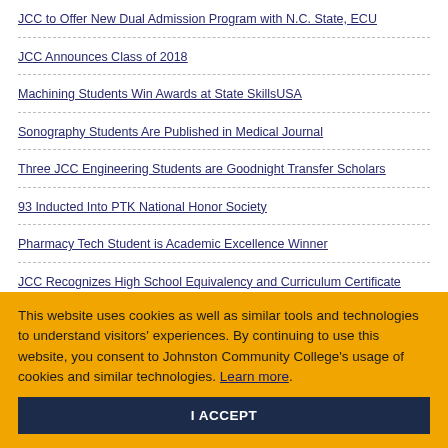JCC to Offer New Dual Admission Program with N.C. State, ECU
JCC Announces Class of 2018
Machining Students Win Awards at State SkillsUSA
Sonography Students Are Published in Medical Journal
Three JCC Engineering Students are Goodnight Transfer Scholars
93 Inducted Into PTK National Honor Society
Pharmacy Tech Student is Academic Excellence Winner
JCC Recognizes High School Equivalency and Curriculum Certificate Completers
Machining Students Place in SkillsUSA National Championships
Sonography Programs Receive Equipment Donation
This website uses cookies as well as similar tools and technologies to understand visitors' experiences. By continuing to use this website, you consent to Johnston Community College's usage of cookies and similar technologies. Learn more.
I ACCEPT